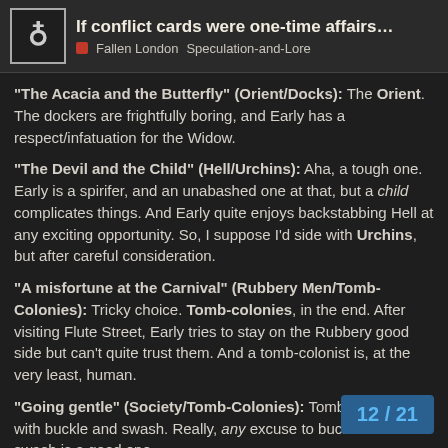If conflict cards were one-time affairs… | Fallen London | Speculation-and-Lore
“The Acacia and the Butterfly” (Orient/Docks): The Orient. The dockers are frightfully boring, and Early has a respect/infatuation for the Widow.
“The Devil and the Child” (Hell/Urchins): Aha, a tough one. Early is a spirifer, and an unabashed one at that, but a child complicates things. And Early quite enjoys backstabbing Hell at any exciting opportunity. So, I suppose I’d side with Urchins, but after careful consideration.
“A misfortune at the Carnival” (Rubbery Men/Tomb-Colonies): Tricky choice. Tomb-colonies, in the end. After visiting Flute Street, Early tries to stay on the Rubbery good side but can’t quite trust them. And a tomb-colonist is, at the very least, human.
“Going gentle” (Society/Tomb-Colonies): Tomb-Colonies, with buckle and swash. Really, any excuse to buckle and swash is a good one.
12 / 21